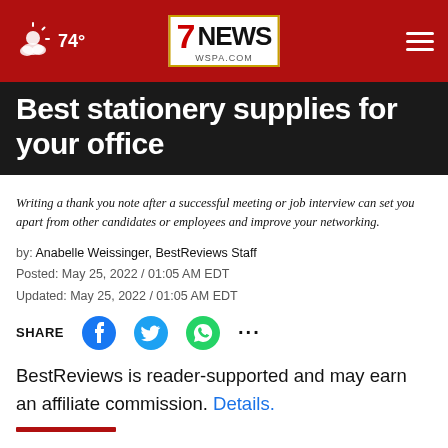74° | 7NEWS WSPA.COM
Best stationery supplies for your office
Writing a thank you note after a successful meeting or job interview can set you apart from other candidates or employees and improve your networking.
by: Anabelle Weissinger, BestReviews Staff
Posted: May 25, 2022 / 01:05 AM EDT
Updated: May 25, 2022 / 01:05 AM EDT
SHARE
BestReviews is reader-supported and may earn an affiliate commission. Details.